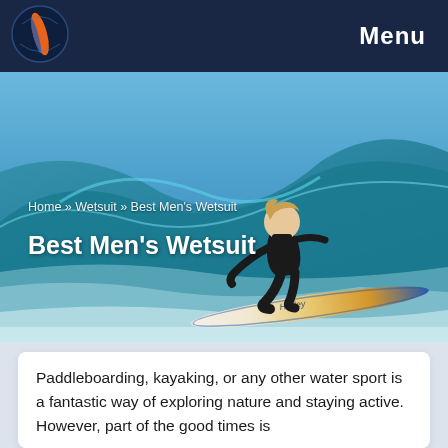Menu
[Figure (photo): A young male surfer in a black wetsuit riding a wave on a yellow and blue surfboard. Blue sky and ocean wave in the background.]
Home » Wetsuit » Best Men's Wetsuit
Best Men's Wetsuit
Paddleboarding, kayaking, or any other water sport is a fantastic way of exploring nature and staying active. However, part of the good times is